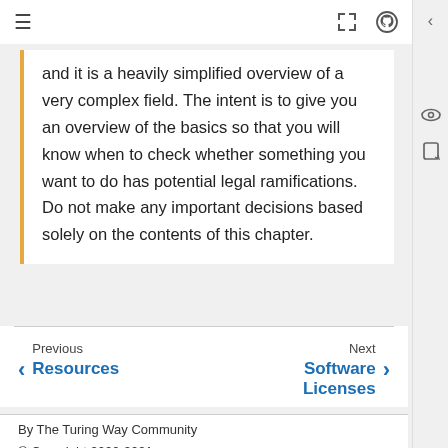≡  ⛶  GitHub
and it is a heavily simplified overview of a very complex field. The intent is to give you an overview of the basics so that you will know when to check whether something you want to do has potential legal ramifications. Do not make any important decisions based solely on the contents of this chapter.
Previous Resources | Next Software Licenses
By The Turing Way Community
© Copyright 2020-2021.